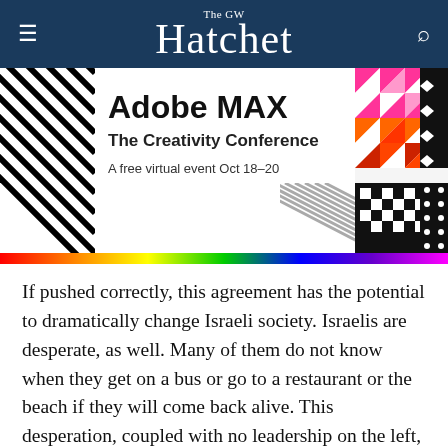The GW Hatchet
[Figure (illustration): Adobe MAX – The Creativity Conference advertisement. White background with black/white diagonal stripes on left, colorful geometric triangle patterns in pink/orange/red on upper right, black pattern with white diamonds/dots on far right, black/white diagonal hatch in lower middle, black checkered pattern lower right, rainbow gradient stripe at bottom. Text: 'Adobe MAX', 'The Creativity Conference', 'A free virtual event Oct 18–20', 'Register for free' button, Adobe logo.]
If pushed correctly, this agreement has the potential to dramatically change Israeli society. Israelis are desperate, as well. Many of them do not know when they get on a bus or go to a restaurant or the beach if they will come back alive. This desperation, coupled with no leadership on the left, forces Israelis to turn to someone, anyone, who claims he or she can